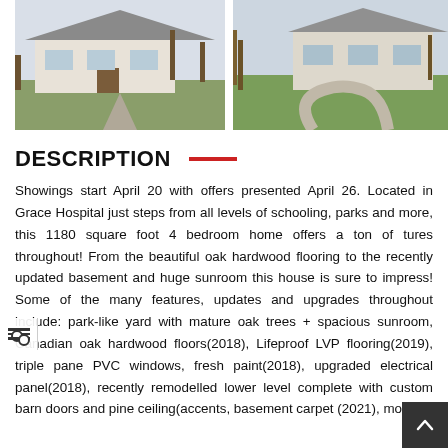[Figure (photo): Exterior photo of a single-story house with a front yard and driveway, bare trees in background]
[Figure (photo): Exterior photo of another house with a curved driveway and green lawn, bare trees in background]
DESCRIPTION
Showings start April 20 with offers presented April 26. Located in Grace Hospital just steps from all levels of schooling, parks and more, this 1180 square foot 4 bedroom home offers a ton of tures throughout! From the beautiful oak hardwood flooring to the recently updated basement and huge sunroom this house is sure to impress! Some of the many features, updates and upgrades throughout include: park-like yard with mature oak trees + spacious sunroom, Canadian oak hardwood floors(2018), Lifeproof LVP flooring(2019), triple pane PVC windows, fresh paint(2018), upgraded electrical panel(2018), recently remodelled lower level complete with custom barn doors and pine ceiling(accents, basement carpet (2021), mostly